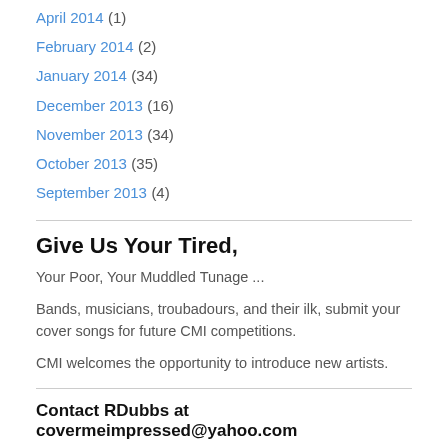April 2014 (1)
February 2014 (2)
January 2014 (34)
December 2013 (16)
November 2013 (34)
October 2013 (35)
September 2013 (4)
Give Us Your Tired,
Your Poor, Your Muddled Tunage ...
Bands, musicians, troubadours, and their ilk, submit your cover songs for future CMI competitions.
CMI welcomes the opportunity to introduce new artists.
Contact RDubbs at covermeimpressed@yahoo.com